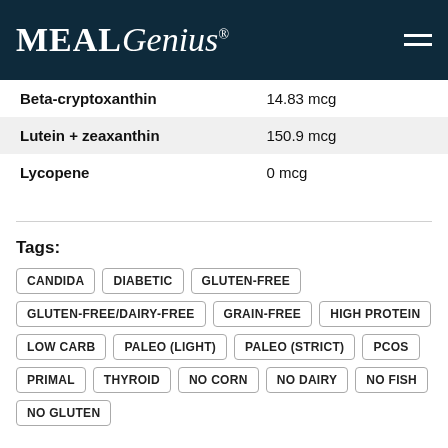MealGenius
| Nutrient | Value |
| --- | --- |
| Beta-cryptoxanthin | 14.83 mcg |
| Lutein + zeaxanthin | 150.9 mcg |
| Lycopene | 0 mcg |
Tags:
CANDIDA
DIABETIC
GLUTEN-FREE
GLUTEN-FREE/DAIRY-FREE
GRAIN-FREE
HIGH PROTEIN
LOW CARB
PALEO (LIGHT)
PALEO (STRICT)
PCOS
PRIMAL
THYROID
NO CORN
NO DAIRY
NO FISH
NO GLUTEN